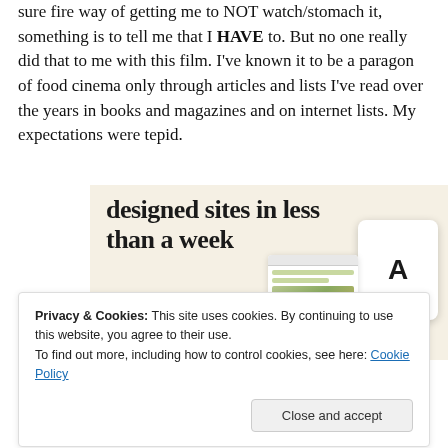sure fire way of getting me to NOT watch/stomach it, something is to tell me that I HAVE to. But no one really did that to me with this film. I've known it to be a paragon of food cinema only through articles and lists I've read over the years in books and magazines and on internet lists. My expectations were tepid.
[Figure (illustration): Advertisement banner with beige background showing text 'designed sites in less than a week', a green 'Explore options' button, and mock device/browser UI mockups on the right side.]
Privacy & Cookies: This site uses cookies. By continuing to use this website, you agree to their use.
To find out more, including how to control cookies, see here: Cookie Policy